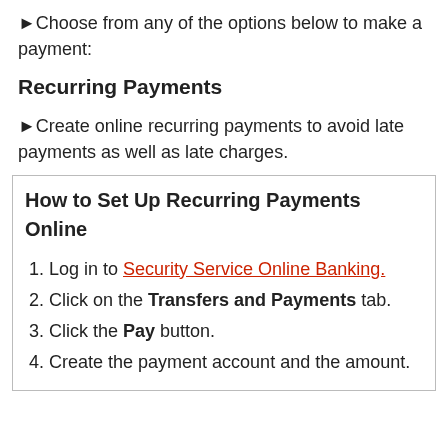►Choose from any of the options below to make a payment:
Recurring Payments
►Create online recurring payments to avoid late payments as well as late charges.
How to Set Up Recurring Payments Online
1. Log in to Security Service Online Banking.
2. Click on the Transfers and Payments tab.
3. Click the Pay button.
4. Create the payment account and the amount.